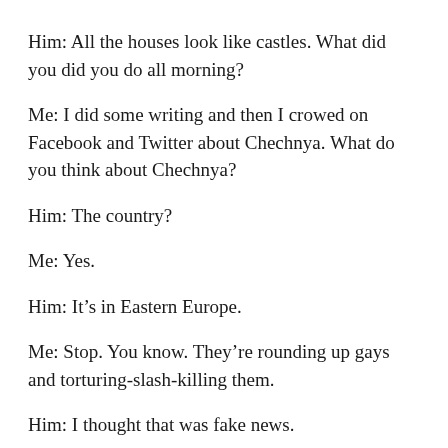Him: All the houses look like castles. What did you did you do all morning?
Me: I did some writing and then I crowed on Facebook and Twitter about Chechnya. What do you think about Chechnya?
Him: The country?
Me: Yes.
Him: It’s in Eastern Europe.
Me: Stop. You know. They’re rounding up gays and torturing-slash-killing them.
Him: I thought that was fake news.
Me: It was not. At no time was it fake. Though, to be fair, it was barely news. People were mad about United the week it broke and then I